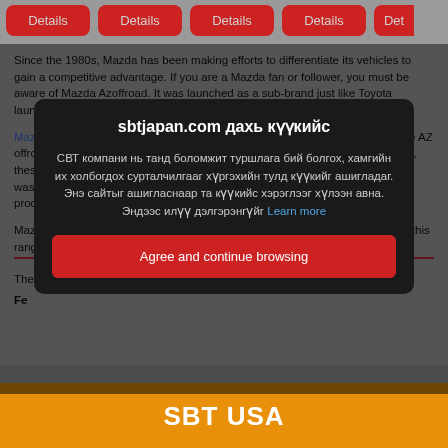[Figure (screenshot): Row of red 'Details' buttons on a grey background, partially cropped at right edge]
Since the 1980s, Mazda has been making efforts to differentiate its vehicles to gain a competitive advantage. If you are a Mazda fan or follower, you must be aware of Mazda Azoffroad. It was launched as a sub-brand just like Toyota launched Lexus.
Mazda Azoffroad is identified as the rebadged version of the Suzuki Jimny. The AZ offroad series consists of different models launched in these years. Specifically, these vehicles comprise 4 seats and 3 doors. The first Mazda Azoffroad model was launched in 1998. In 2014, the company decided to put an end to its production.
Mazda Azoffroad is identified as a dazzling Ranchera. The models included in this range and...
[Figure (screenshot): Cookie consent modal popup in Mongolian language on SBT Japan website. Title: 'sbtjapan.com дахь күүкийс'. Body text in Mongolian about cookies. Button: 'Agree and continue browsing']
SBT USA
[Figure (screenshot): Orange SBT USA footer bar]